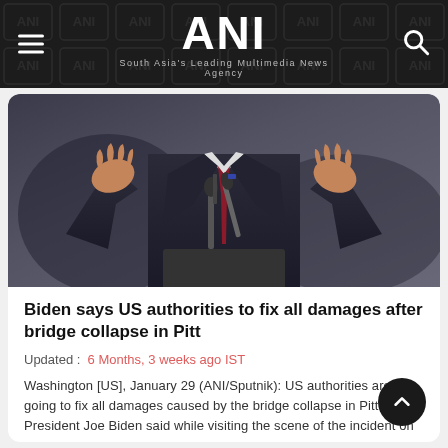ANI – South Asia's Leading Multimedia News Agency
[Figure (photo): A person in a dark suit speaking at a podium with microphones, gesturing with both hands raised, wearing a red tie — cropped view of torso and hands only.]
Biden says US authorities to fix all damages after bridge collapse in Pitt
Updated :  6 Months, 3 weeks ago IST
Washington [US], January 29 (ANI/Sputnik): US authorities are going to fix all damages caused by the bridge collapse in Pittsburgh, President Joe Biden said while visiting the scene of the incident on Friday.
Read More